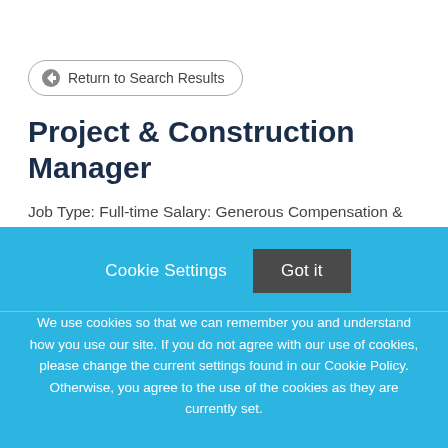Return to Search Results
Project & Construction Manager
Job Type: Full-time Salary: Generous Compensation & Benefits Package Introduction: Established in 1989, Transtech Engineers, Inc. is a multi-disciplinary
Cookie Settings  Got it
We use cookies so that we can remember you and understand how you use our site. If you do not agree with our use of cookies, please change the current settings found in our Cookie Policy. Otherwise, you agree to the use of the cookies as they are currently set.